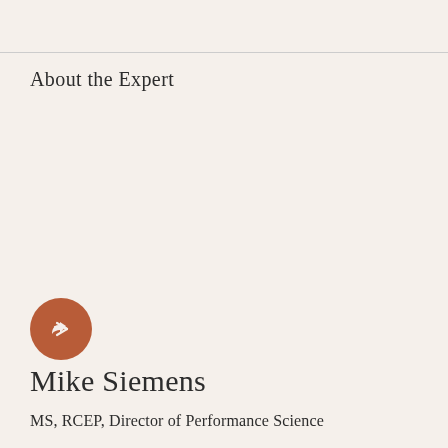About the Expert
[Figure (illustration): Circular share/reply button icon with terracotta/brown background and white arrow symbol]
Mike Siemens
MS, RCEP, Director of Performance Science